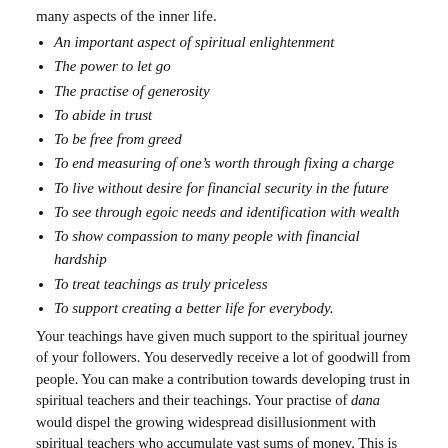many aspects of the inner life.
An important aspect of spiritual enlightenment
The power to let go
The practise of generosity
To abide in trust
To be free from greed
To end measuring of one’s worth through fixing a charge
To live without desire for financial security in the future
To see through egoic needs and identification with wealth
To show compassion to many people with financial hardship
To treat teachings as truly priceless
To support creating a better life for everybody.
Your teachings have given much support to the spiritual journey of your followers. You deservedly receive a lot of goodwill from people. You can make a contribution towards developing trust in spiritual teachers and their teachings. Your practise of dana would dispel the growing widespread disillusionment with spiritual teachers who accumulate vast sums of money. This is not a hair-shirt philosophy but an act of kindness and support for all regardless of their financial